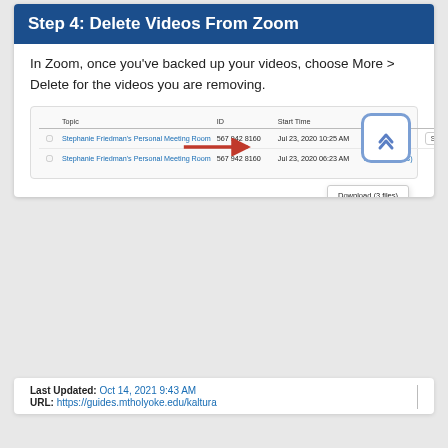Step 4: Delete Videos From Zoom
In Zoom, once you've backed up your videos, choose More > Delete for the videos you are removing.
[Figure (screenshot): Screenshot of Zoom cloud recordings interface showing two rows for Stephanie Friedman's Personal Meeting Room with ID 567 942 8160. Top row shows Jul 23, 2020 10:25 AM, 3 Files (3 MB) with Share and More buttons. Bottom row shows Jul 23, 2020 06:23 AM, 3 Files (16 MB) with a dropdown open showing Download (3 files) and Delete options. A red arrow points to Delete. An up-arrow navigation button is overlaid in the top-right corner.]
Last Updated: Oct 14, 2021 9:43 AM
URL: https://guides.mtholyoke.edu/kaltura